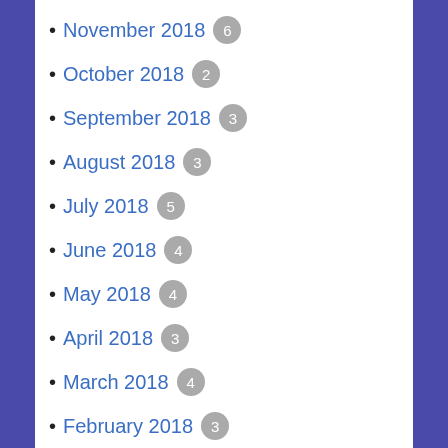November 2018 6
October 2018 2
September 2018 3
August 2018 3
July 2018 5
June 2018 4
May 2018 4
April 2018 3
March 2018 4
February 2018 3
January 2018 2